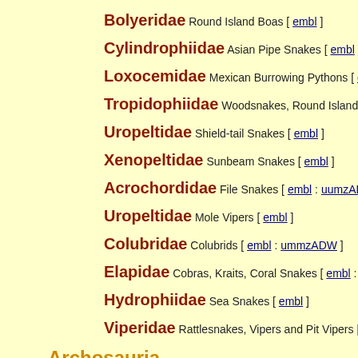Bolyeridae Round Island Boas [ embl ]
Cylindrophiidae Asian Pipe Snakes [ embl ]
Loxocemidae Mexican Burrowing Pythons [ embl ]
Tropidophiidae Woodsnakes, Round Island "Boas" [ em...
Uropeltidae Shield-tail Snakes [ embl ]
Xenopeltidae Sunbeam Snakes [ embl ]
Acrochordidae File Snakes [ embl : uumzADW ]
Uropeltidae Mole Vipers [ embl ]
Colubridae Colubrids [ embl : ummzADW ]
Elapidae Cobras, Kraits, Coral Snakes [ embl : ummzADW...
Hydrophiidae Sea Snakes [ embl ]
Viperidae Rattlesnakes, Vipers and Pit Vipers [ embl : um...
Archosauria
Crocodylia